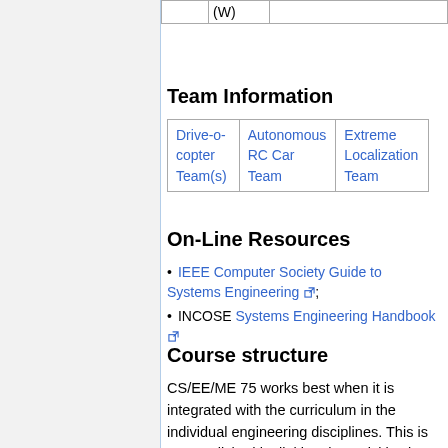|  | (W) |  |
| --- | --- | --- |
|  |
Team Information
| Drive-o-copter Team(s) | Autonomous RC Car Team | Extreme Localization Team |
| --- | --- | --- |
On-Line Resources
IEEE Computer Society Guide to Systems Engineering;
INCOSE Systems Engineering Handbook
Course structure
CS/EE/ME 75 works best when it is integrated with the curriculum in the individual engineering disciplines. This is accomplished by linking the activities in